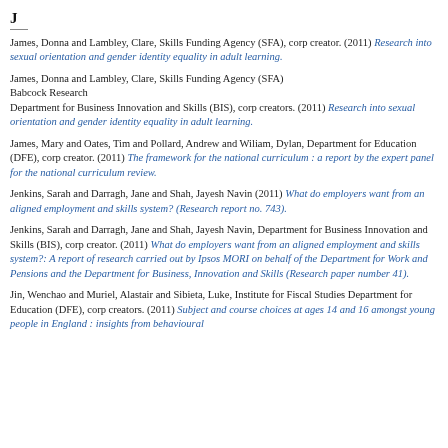J
James, Donna and Lambley, Clare, Skills Funding Agency (SFA), corp creator. (2011) Research into sexual orientation and gender identity equality in adult learning.
James, Donna and Lambley, Clare, Skills Funding Agency (SFA) Babcock Research Department for Business Innovation and Skills (BIS), corp creators. (2011) Research into sexual orientation and gender identity equality in adult learning.
James, Mary and Oates, Tim and Pollard, Andrew and Wiliam, Dylan, Department for Education (DFE), corp creator. (2011) The framework for the national curriculum : a report by the expert panel for the national curriculum review.
Jenkins, Sarah and Darragh, Jane and Shah, Jayesh Navin (2011) What do employers want from an aligned employment and skills system? (Research report no. 743).
Jenkins, Sarah and Darragh, Jane and Shah, Jayesh Navin, Department for Business Innovation and Skills (BIS), corp creator. (2011) What do employers want from an aligned employment and skills system?: A report of research carried out by Ipsos MORI on behalf of the Department for Work and Pensions and the Department for Business, Innovation and Skills (Research paper number 41).
Jin, Wenchao and Muriel, Alastair and Sibieta, Luke, Institute for Fiscal Studies Department for Education (DFE), corp creators. (2011) Subject and course choices at ages 14 and 16 amongst young people in England : insights from behavioural